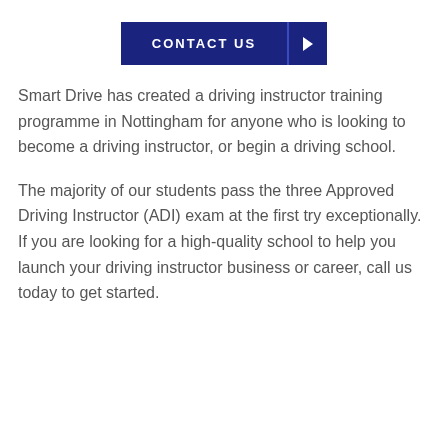[Figure (other): A dark navy blue button labeled CONTACT US with a right-pointing arrow button to its right]
Smart Drive has created a driving instructor training programme in Nottingham for anyone who is looking to become a driving instructor, or begin a driving school.
The majority of our students pass the three Approved Driving Instructor (ADI) exam at the first try exceptionally. If you are looking for a high-quality school to help you launch your driving instructor business or career, call us today to get started.